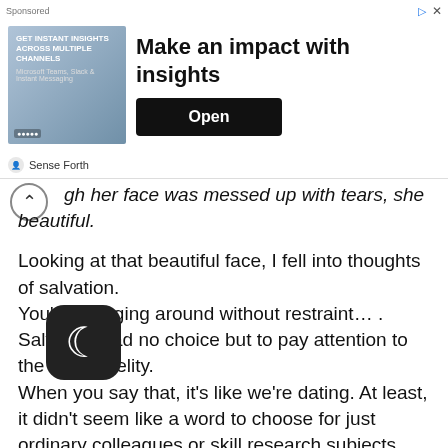[Figure (screenshot): Advertisement banner for 'Sense Forth' with headline 'Make an impact with insights', an image placeholder on the left, and an 'Open' button on the right.]
gh her face was messed up with tears, she was still beautiful.
Looking at that beautiful face, I fell into thoughts of salvation.
You're swinging around without restraint… .
Salvation had no choice but to pay attention to the word fidelity.
When you say that, it's like we're dating. At least, it didn't seem like a word to choose for just ordinary colleagues or skill research subjects.
Maybe it's just what I want to think, but… .
Salvation decided to try it once.
When I was in a relationship with Diana, I always asked if I could kiss her at least once.